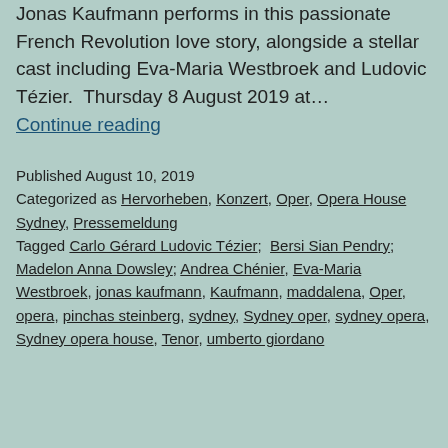Jonas Kaufmann performs in this passionate French Revolution love story, alongside a stellar cast including Eva-Maria Westbroek and Ludovic Tézier.  Thursday 8 August 2019 at… Continue reading
Published August 10, 2019
Categorized as Hervorheben, Konzert, Oper, Opera House Sydney, Pressemeldung
Tagged Carlo Gérard Ludovic Tézier; Bersi Sian Pendry; Madelon Anna Dowsley; Andrea Chénier, Eva-Maria Westbroek, jonas kaufmann, Kaufmann, maddalena, Oper, opera, pinchas steinberg, sydney, Sydney oper, sydney opera, Sydney opera house, Tenor, umberto giordano